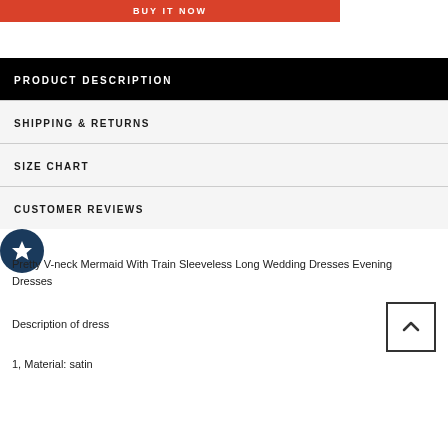[Figure (other): BUY IT NOW red button at top of page]
PRODUCT DESCRIPTION
SHIPPING & RETURNS
SIZE CHART
CUSTOMER REVIEWS
Pretty V-neck Mermaid With Train Sleeveless Long Wedding Dresses Evening Dresses
Description of dress
1, Material: satin